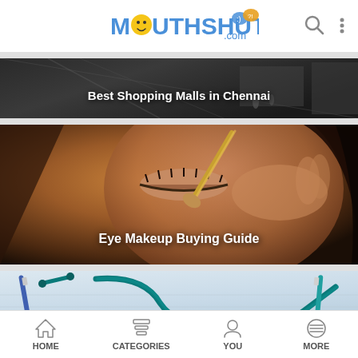MouthShut.com
[Figure (photo): Shopping mall interior with escalators and people, dark toned image with text overlay 'Best Shopping Malls in Chennai']
Best Shopping Malls in Chennai
[Figure (photo): Close-up of a woman applying eye makeup with a brush, warm toned image with text overlay 'Eye Makeup Buying Guide']
Eye Makeup Buying Guide
[Figure (photo): Medical stethoscope and pen on white paper/forms, light blue toned image]
HOME   CATEGORIES   YOU   MORE